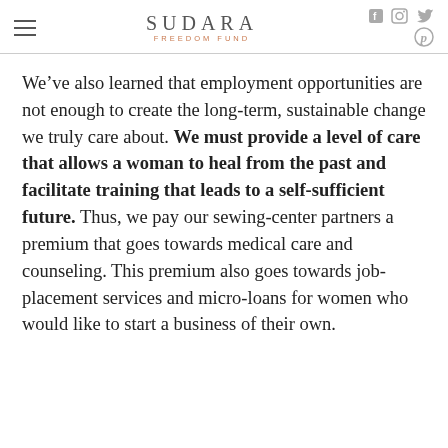SUDARA FREEDOM FUND
We’ve also learned that employment opportunities are not enough to create the long-term, sustainable change we truly care about. We must provide a level of care that allows a woman to heal from the past and facilitate training that leads to a self-sufficient future. Thus, we pay our sewing-center partners a premium that goes towards medical care and counseling. This premium also goes towards job-placement services and micro-loans for women who would like to start a business of their own.